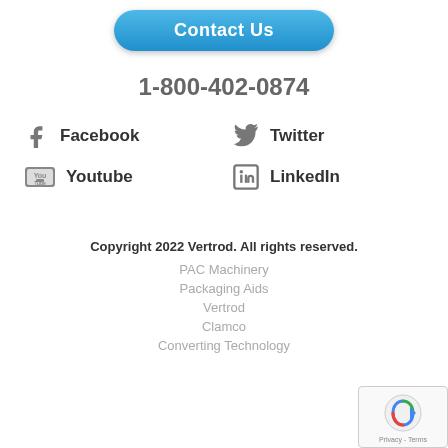[Figure (other): Contact Us button - blue rounded rectangle with white bold text]
1-800-402-0874
[Figure (other): Facebook icon (f logo) with bold text 'Facebook']
[Figure (other): Twitter icon (bird logo) with bold text 'Twitter']
[Figure (other): Youtube icon with bold text 'Youtube']
[Figure (other): LinkedIn icon with bold text 'LinkedIn']
Copyright 2022 Vertrod. All rights reserved.
PAC Machinery
Packaging Aids
Vertrod
Clamco
Converting Technology
[Figure (other): reCAPTCHA widget box with Google logo and Privacy - Terms text]